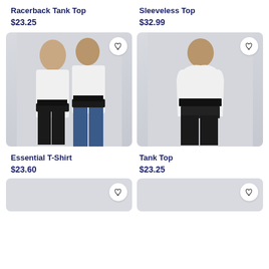Racerback Tank Top
$23.25
Sleeveless Top
$32.99
[Figure (photo): Two models wearing white Essential T-Shirts with a dark graphic print band across the chest. A woman and a man standing together. Heart/favorite button in top right corner.]
[Figure (photo): Male model wearing a white Tank Top with a dark graphic print band across the chest. Heart/favorite button in top right corner.]
Essential T-Shirt
$23.60
Tank Top
$23.25
[Figure (photo): Partially visible product image placeholder at bottom left, light gray background with heart/favorite button.]
[Figure (photo): Partially visible product image placeholder at bottom right, light gray background with heart/favorite button.]